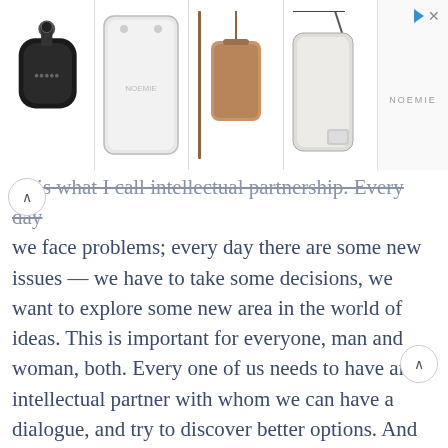[Figure (photo): Advertisement banner showing four phone/accessory product images: a black AirPods case with keychain, a white phone wallet case, a brown leather crossbody phone case, and a clear phone case with strap. Top right shows a play/forward arrow icon and an X close button. Brand name NOEMIE visible.]
ge is what I call intellectual partnership. Every day we face problems; every day there are some new issues — we have to take some decisions, we want to explore some new area in the world of ideas. This is important for everyone, man and woman, both. Every one of us needs to have an intellectual partner with whom we can have a dialogue, and try to discover better options. And the best intellectual partner is no other than your spouse. Everyone has adopted what may be called the adjustment culture — the businessman with his customers, every working man or woman with his or her boss. I think this is good, although the goal of this adjustment is only the money to be earned. But this adjustment culture is essential also between husband and wife. By adopting this adjustment culture in married life, you can earn something that is far